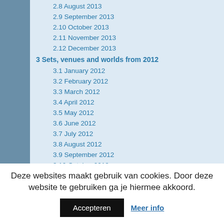2.8 August 2013
2.9 September 2013
2.10 October 2013
2.11 November 2013
2.12 December 2013
3 Sets, venues and worlds from 2012
3.1 January 2012
3.2 February 2012
3.3 March 2012
3.4 April 2012
3.5 May 2012
3.6 June 2012
3.7 July 2012
3.8 August 2012
3.9 September 2012
3.10 October 2012
3.11 November 2012
Deze websites maakt gebruik van cookies. Door deze website te gebruiken ga je hiermee akkoord.
Accepteren
Meer info